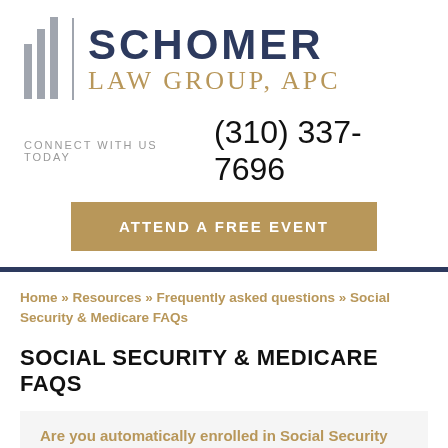[Figure (logo): Schomer Law Group, APC logo with three vertical bars and text]
CONNECT WITH US TODAY (310) 337-7696
ATTEND A FREE EVENT
Home » Resources » Frequently asked questions » Social Security & Medicare FAQs
SOCIAL SECURITY & MEDICARE FAQS
Are you automatically enrolled in Social Security and Medicare when you turn 65?